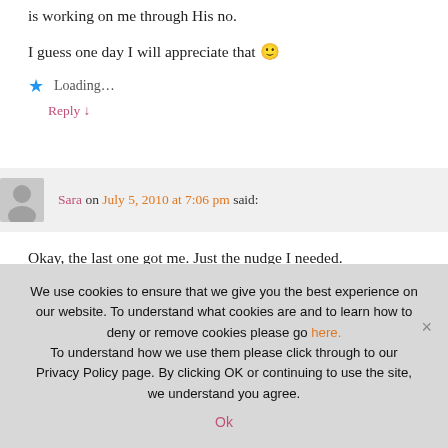is working on me through His no.
I guess one day I will appreciate that 🙂
Loading...
Reply ↓
Sara on July 5, 2010 at 7:06 pm said:
Okay, the last one got me. Just the nudge I needed.
Delighted to splash around with you today. This looks like a great place to slip off my shoes and wade in refreshing thankfulness.
We use cookies to ensure that we give you the best experience on our website. To understand what cookies are and to learn how to deny or remove cookies please go here. To understand how we use them please click through to our Privacy Policy page. By clicking OK or continuing to use the site, we understand you agree.
Ok